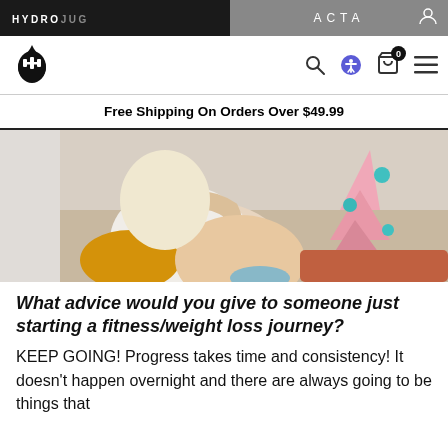HYDROJUG | ACTA
[Figure (logo): HydroJug logo - water drop with barbell H icon]
Free Shipping On Orders Over $49.99
[Figure (photo): Person sitting on floor hugging knees in white outfit with yellow and orange pillows, pink Christmas tree in background]
What advice would you give to someone just starting a fitness/weight loss journey?
KEEP GOING! Progress takes time and consistency! It doesn't happen overnight and there are always going to be things that